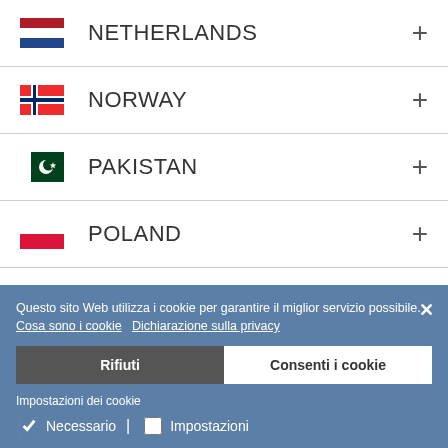NETHERLANDS
NORWAY
PAKISTAN
POLAND
Questo sito Web utilizza i cookie per garantire il miglior servizio possibile. Cosa sono i cookie   Dichiarazione sulla privacy
PORTUGAL